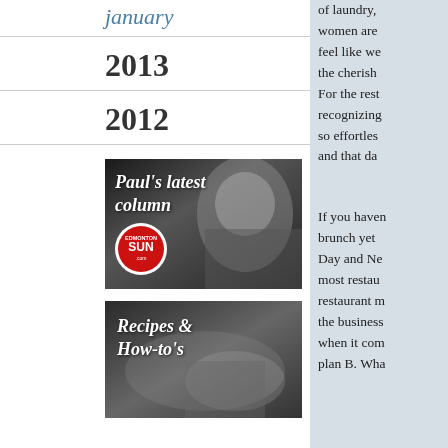january
2013
2012
[Figure (photo): Paul's latest column - Edmonton Sun promotional image with man's portrait in black and white]
[Figure (photo): Recipes & How-to's - food image in black and white]
of laundry, women are feel like we the cherish For the rest recognizing so effortles and that da
If you haven brunch yet Day and Ne most restau restaurant m the business when it com plan B. Wha